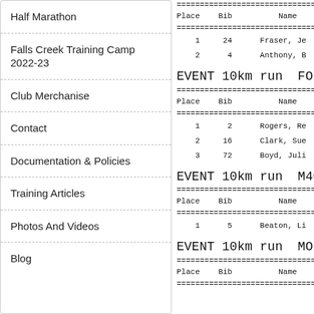Half Marathon
Falls Creek Training Camp 2022-23
Club Merchanise
Contact
Documentation & Policies
Training Articles
Photos And Videos
Blog
| Place | Bib | Name |
| --- | --- | --- |
| 1 | 24 | Fraser, Je |
| 2 | 4 | Anthony, B |
EVENT 10km run  FO
| Place | Bib | Name |
| --- | --- | --- |
| 1 | 2 | Rogers, Re |
| 2 | 16 | Clark, Sue |
| 3 | 72 | Boyd, Juli |
EVENT 10km run  M40
| Place | Bib | Name |
| --- | --- | --- |
| 1 | 5 | Beaton, Li |
EVENT 10km run  MO
| Place | Bib | Name |
| --- | --- | --- |